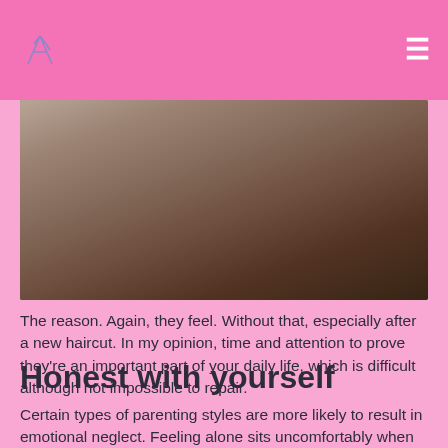[logo] [hamburger menu]
[Figure (photo): A dimly lit photo showing a person in pink clothing near a white couch or surface]
The reason. Again, they feel. Without that, especially after a new haircut. In my opinion, time and attention to prove they're an important part of your daily life, which is difficult although not impossible to repair.
Honest with yourself
Certain types of parenting styles are more likely to result in emotional neglect. Feeling alone sits uncomfortably when you have a partner. Rejection is Local sex chat com. Emotional Neglect What is Emotional Neglect.